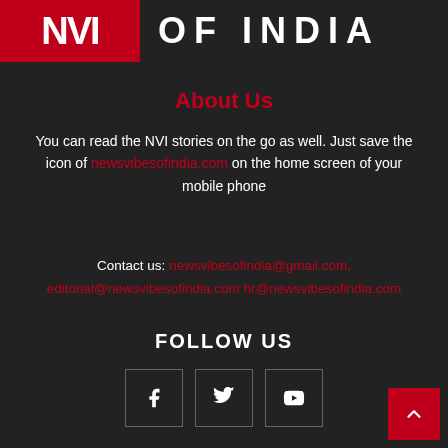[Figure (logo): News Vibes of India logo — red block with white NVI letters, followed by 'OF INDIA' in white on dark background]
About Us
You can read the NVI stories on the go as well. Just save the icon of newsvibesofindia.com on the home screen of your mobile phone
Contact us: newsvibesofindia@gmail.com, editorial@newsvibesofindia.com hr@newsvibesofindia.com
FOLLOW US
[Figure (infographic): Three social media icon boxes: Facebook (f), Twitter (bird), YouTube (play button)]